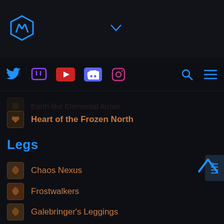Navigation header with logo, social media icons (Twitter, Twitch, YouTube, Discord, Instagram), search and menu buttons
[item - partially visible] Earth/Elemental armor (cut off at top)
Heart of the Frozen North
Legs
Chaos Nexus
Frostwalkers
Galebringer's Leggings
Kavil's Grand Revelation
Riftdancer's Stride
Starcaller's Breeches
Time-Warped Cloth